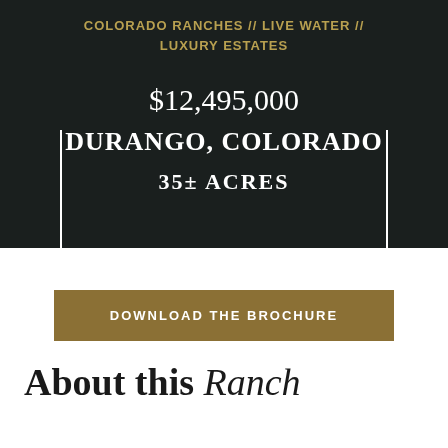COLORADO RANCHES // LIVE WATER // LUXURY ESTATES
$12,495,000
DURANGO, COLORADO
35± ACRES
DOWNLOAD THE BROCHURE
About this Ranch